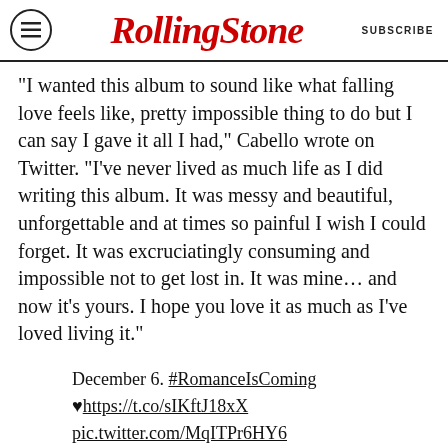RollingStone | SUBSCRIBE
“I wanted this album to sound like what falling love feels like, pretty impossible thing to do but I can say I gave it all I had,” Cabello wrote on Twitter. “I’ve never lived as much life as I did writing this album. It was messy and beautiful, unforgettable and at times so painful I wish I could forget. It was excruciatingly consuming and impossible not to get lost in. It was mine… and now it’s yours. I hope you love it as much as I’ve loved living it.”
December 6. #RomanceIsComing ♥https://t.co/sIKftJ18xX pic.twitter.com/MqITPr6HY6
— camila (@Camila_Cabello)